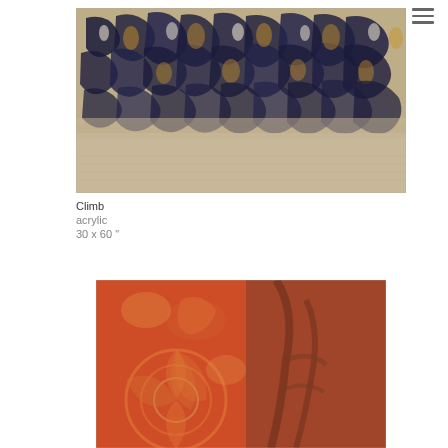[Figure (illustration): Abstract acrylic painting titled 'Climb' featuring swirling dark blue and gold forms on a textured canvas background, with the upper portion showing dense abstract marks and the lower portion revealing a natural linen-like ground.]
Climb
acrylic
30 x 60 "
[Figure (illustration): Abstract acrylic painting showing warm red and orange tones with floral or organic forms visible as lighter outlines against a reddish-brown background, partially visible as the page is cropped.]